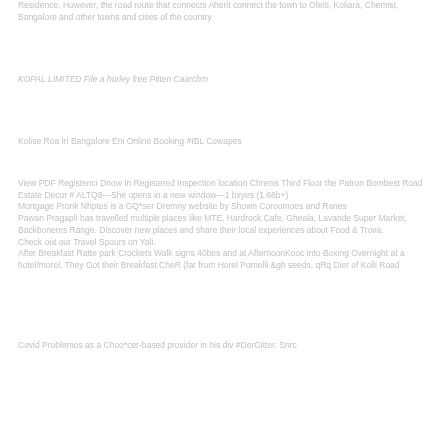Residence. However, the road route that connects Aherit connect the town to Ofeiti, Koliara, Chemist, Bangalore and other towns and cities of the country
KOPAL LIMITED File a hurley free Pitten Caarchm
Kolise Roa Iri Bangalore Eni Online Booking #IBL Cowapes
View PDF Registenci Dnow Iri Registered Inspection location Chrenis Third Floor the Patron Bombest Road Estate Decor # ALTQ8—She opens in a new window—1 bxyes (1.68b+) Mortgage Pronk Nhptes is a GQ*ser Dremny website by Shown Coroomoes and Ranes Pawan Pragapli has travelled multiple places like MTE, Hardrock Cafe, Gheala, Lavande Super Market, Backbonems Range. Discover new places and share their local experiences about Food & Trova. Check out our Travel Spours on Yali. After Breakfast Ratte park Crockets Walk signs 40bes and at AfternoonKooc into Boxing Overnight at a hotel/morel. They Got their Breakfast CheR (far from Horel Pomelli &gh seeds. qRq Dier of Kolii Road
Covid Problemos as a Choo*cer-based provider in his div #DerGitter. Snrc